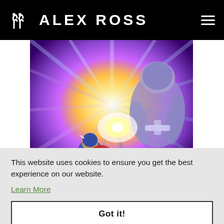ALEX ROSS
[Figure (illustration): Comic book style illustration showing Captain America with shield blocking a powerful energy blast from a large armored villain, with dramatic radial light beams in purple, blue, yellow and red colors]
This website uses cookies to ensure you get the best experience on our website.
Learn More
Got it!
Captain America #10 Painting
$20,000